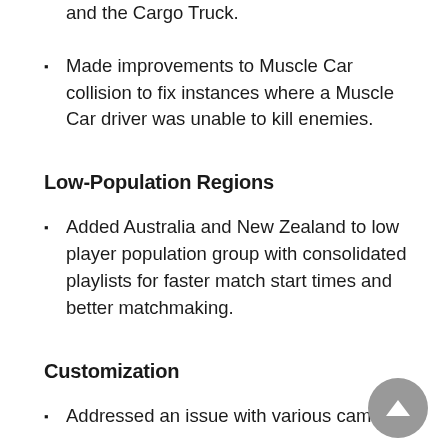and the Cargo Truck.
Made improvements to Muscle Car collision to fix instances where a Muscle Car driver was unable to kill enemies.
Low-Population Regions
Added Australia and New Zealand to low player population group with consolidated playlists for faster match start times and better matchmaking.
Customization
Addressed an issue with various camos